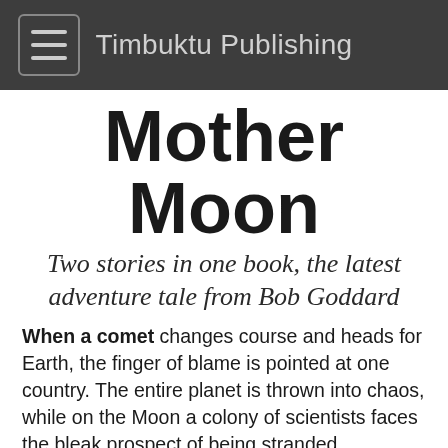Timbuktu Publishing
Mother Moon
Two stories in one book, the latest adventure tale from Bob Goddard
When a comet changes course and heads for Earth, the finger of blame is pointed at one country. The entire planet is thrown into chaos, while on the Moon a colony of scientists faces the bleak prospect of being stranded… forever.
   Will Cooper and Nadia Sokolova become unlikely allies in their struggle for survival. Can they make Armstrong Base self-sufficient before the food runs out? Will they ever see their families again? Can love conquer fear in one-sixth gravity?
   And what does a 16th century sailing ship and its